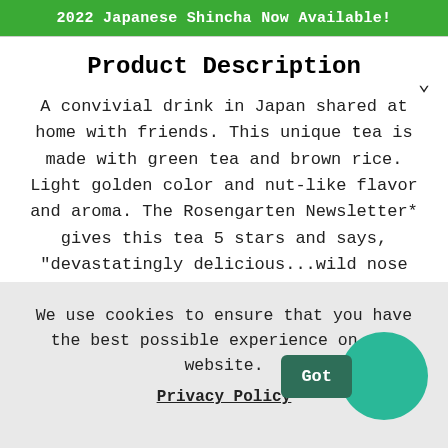2022 Japanese Shincha Now Available!
Product Description
A convivial drink in Japan shared at home with friends. This unique tea is made with green tea and brown rice. Light golden color and nut-like flavor and aroma. The Rosengarten Newsletter* gives this tea 5 stars and says, "devastatingly delicious...wild nose that goes beyond toasted rice, almost to the buttery popcorn at the bottom of the bag. Huge
We use cookies to ensure that you have the best possible experience on our website.
Privacy Policy  Got